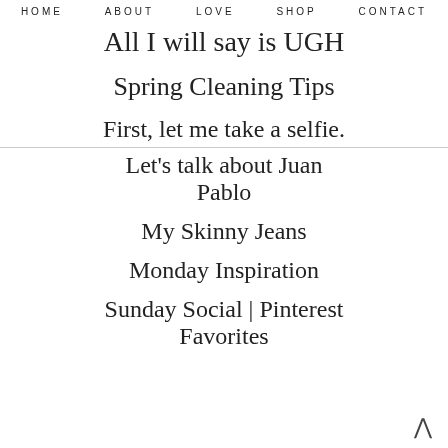HOME   ABOUT   LOVE   SHOP   CONTACT
All I will say is UGH
Spring Cleaning Tips
First, let me take a selfie.
Let's talk about Juan Pablo
My Skinny Jeans
Monday Inspiration
Sunday Social | Pinterest Favorites